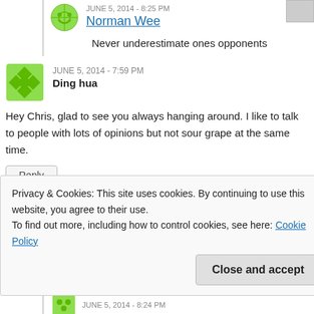JUNE 5, 2014 - 8:25 PM
Norman Wee
Never underestimate ones opponents
JUNE 5, 2014 - 7:59 PM
Ding hua
Hey Chris, glad to see you always hanging around. I like to talk to people with lots of opinions but not sour grape at the same time.
Reply
JUNE 5, 2014 - 8:12 PM
Chris
Thanks ding hua
Privacy & Cookies: This site uses cookies. By continuing to use this website, you agree to their use.
To find out more, including how to control cookies, see here: Cookie Policy
Close and accept
JUNE 5, 2014 - 8:24 PM